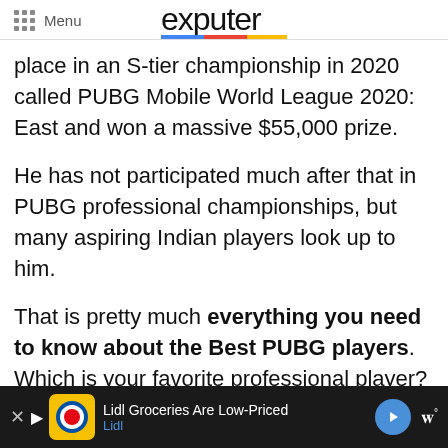Menu | exputer
place in an S-tier championship in 2020 called PUBG Mobile World League 2020: East and won a massive $55,000 prize.
He has not participated much after that in PUBG professional championships, but many aspiring Indian players look up to him.
That is pretty much everything you need to know about the Best PUBG players. Which is your favorite professional player? Let us know more of
[Figure (screenshot): Advertisement bar at bottom: Lidl Groceries Are Low-Priced, with Lidl logo and navigation arrow]